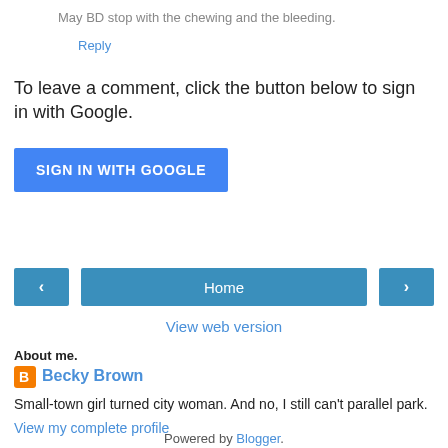May BD stop with the chewing and the bleeding.
Reply
To leave a comment, click the button below to sign in with Google.
SIGN IN WITH GOOGLE
[Figure (other): Navigation bar with left arrow button, Home button, and right arrow button]
View web version
About me.
Becky Brown
Small-town girl turned city woman. And no, I still can't parallel park.
View my complete profile
Powered by Blogger.